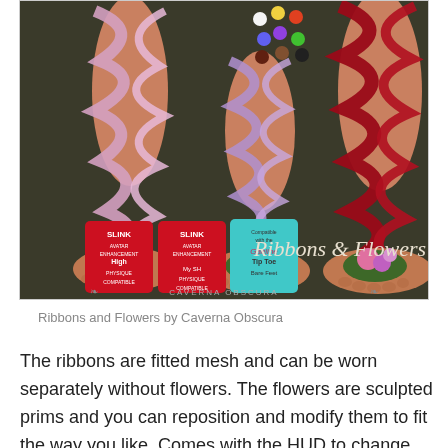[Figure (photo): Product image of 'Ribbons & Flowers' sandals by Caverna Obscura — two pairs of decorated feet wearing ribbon-wrapped sandals with floral embellishments: pink/lavender ribbons on the left pair and deep red ribbons on the right pair. Colorful flower icons shown in upper center. Compatibility badges (SLINK, Physique, Tip Toe Bare Feet) shown in lower left. Product name 'Ribbons & Flowers' and 'CAVERNA OBSCURA' text visible.]
Ribbons and Flowers by Caverna Obscura
The ribbons are fitted mesh and can be worn separately without flowers. The flowers are sculpted prims and you can reposition and modify them to fit the way you like. Comes with the HUD to change ribbon (15 colours) and